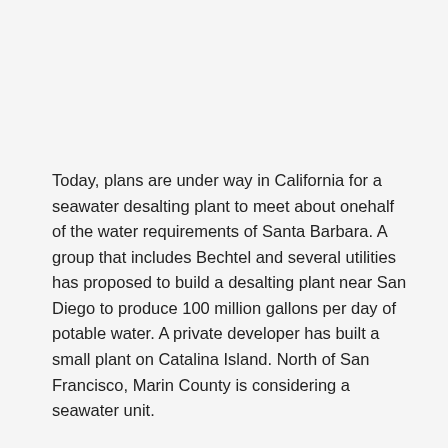Today, plans are under way in California for a seawater desalting plant to meet about onehalf of the water requirements of Santa Barbara. A group that includes Bechtel and several utilities has proposed to build a desalting plant near San Diego to produce 100 million gallons per day of potable water. A private developer has built a small plant on Catalina Island. North of San Francisco, Marin County is considering a seawater unit.